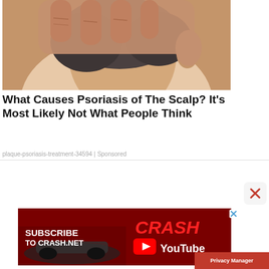[Figure (photo): Close-up photo of a person scratching the back of their scalp/neck with their hand, showing gray hair and wrinkled hand skin.]
What Causes Psoriasis of The Scalp? It’s Most Likely Not What People Think
plaque-psoriasis-treatment-34594 | Sponsored
[Figure (screenshot): Advertisement banner for Crash.net YouTube channel showing a Formula 1 car with red background and text SUBSCRIBE TO CRASH.NET / CRASH YouTube]